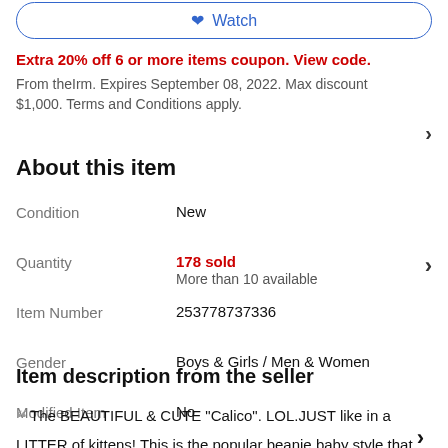Watch (button at top)
Extra 20% off 6 or more items coupon. View code.
From theIrm. Expires September 08, 2022. Max discount $1,000. Terms and Conditions apply.
About this item
| Field | Value |
| --- | --- |
| Condition | New |
| Quantity | 178 sold
More than 10 available |
| Item Number | 253778737336 |
| Gender | Boys & Girls / Men & Women |
| Modified Item | No |
Item description from the seller
The BEAUTIFUL & CUTE "Calico". LOL.JUST like in a LITTER of kittens! This is the popular beanie baby style that